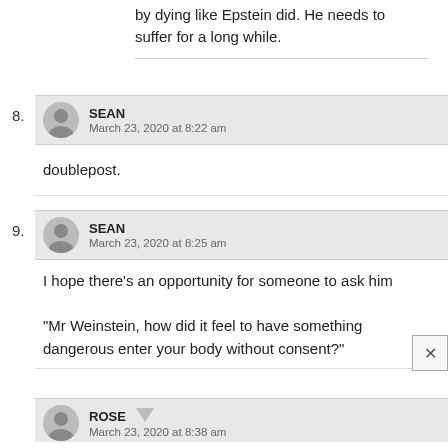by dying like Epstein did. He needs to suffer for a long while.
8. SEAN
March 23, 2020 at 8:22 am
doublepost.
9. SEAN
March 23, 2020 at 8:25 am
I hope there’s an opportunity for someone to ask him

“Mr Weinstein, how did it feel to have something dangerous enter your body without consent?”
ROSE
March 23, 2020 at 8:38 am
Well said!